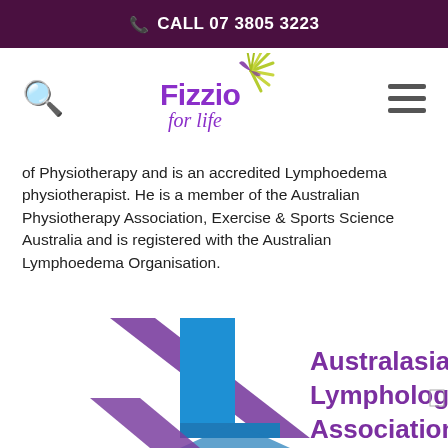CALL 07 3805 3223
[Figure (logo): Fizzio for Life logo with purple text and green/yellow leaf illustration]
of Physiotherapy and is an accredited Lymphoedema physiotherapist. He is a member of the Australian Physiotherapy Association, Exercise & Sports Science Australia and is registered with the Australian Lymphoedema Organisation.
[Figure (logo): Australasian Lymphology Association logo with blue and purple diagonal ribbon/arrow shapes and text 'Australasian Lymphology Association']